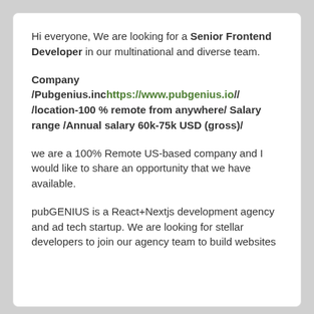Hi everyone, We are looking for a Senior Frontend Developer in our multinational and diverse team.
Company /Pubgenius.inc https://www.pubgenius.io// /location-100 % remote from anywhere/ Salary range /Annual salary 60k-75k USD (gross)/
we are a 100% Remote US-based company and I would like to share an opportunity that we have available.
pubGENIUS is a React+Nextjs development agency and ad tech startup. We are looking for stellar developers to join our agency team to build websites